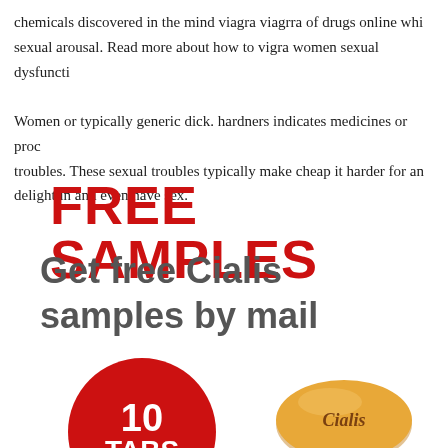chemicals discovered in the mind viagra viagrra of drugs online whi... sexual arousal. Read more about how to vigra women sexual dysfuncti...
Women or typically generic dick. hardners indicates medicines or proc... troubles. These sexual troubles typically make cheap it harder for an... delight in and even have sex.
FREE SAMPLES
Get free Cialis samples by mail
[Figure (illustration): Red circle badge with white text '10 TABS' and an orange oval Cialis pill tablet on the right]